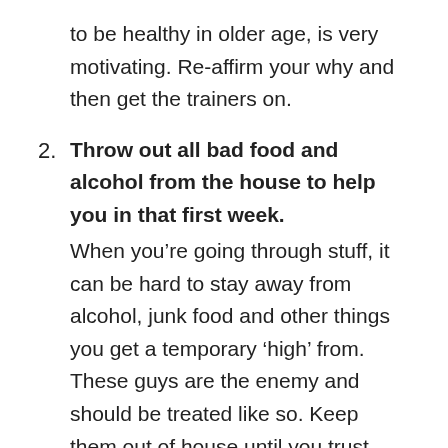to be healthy in older age, is very motivating. Re-affirm your why and then get the trainers on.
2. Throw out all bad food and alcohol from the house to help you in that first week. When you’re going through stuff, it can be hard to stay away from alcohol, junk food and other things you get a temporary ‘high’ from. These guys are the enemy and should be treated like so. Keep them out of house until you trust yourself to be around them. Two treat nights at the weekend is perfect. When you’re tired and emotional, you shouldn’t need to test your willpower. Re